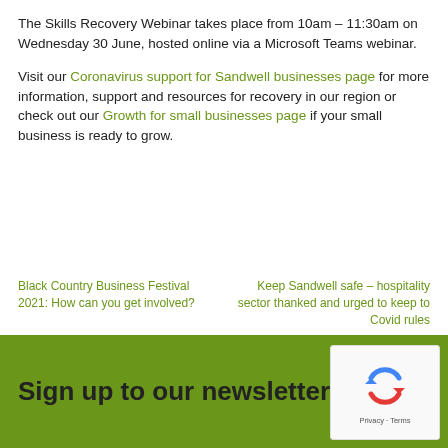The Skills Recovery Webinar takes place from 10am – 11:30am on Wednesday 30 June, hosted online via a Microsoft Teams webinar.
Visit our Coronavirus support for Sandwell businesses page for more information, support and resources for recovery in our region or check out our Growth for small businesses page if your small business is ready to grow.
Black Country Business Festival 2021: How can you get involved?
Keep Sandwell safe – hospitality sector thanked and urged to keep to Covid rules
Sign up to our newsletter